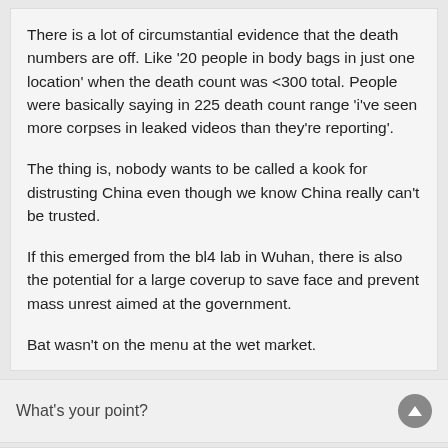There is a lot of circumstantial evidence that the death numbers are off. Like '20 people in body bags in just one location' when the death count was <300 total. People were basically saying in 225 death count range 'i've seen more corpses in leaked videos than they're reporting'.

The thing is, nobody wants to be called a kook for distrusting China even though we know China really can't be trusted.

If this emerged from the bl4 lab in Wuhan, there is also the potential for a large coverup to save face and prevent mass unrest aimed at the government.

Bat wasn't on the menu at the wet market.
What's your point?
The Atheist